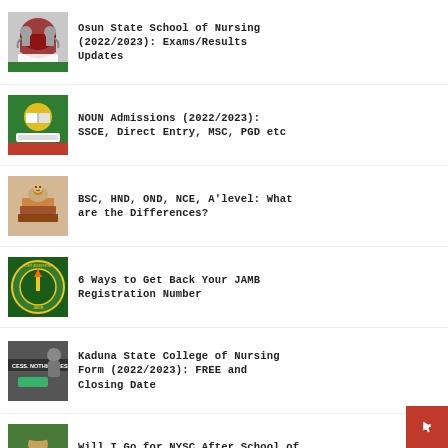Osun State School of Nursing (2022/2023): Exams/Results Updates
NOUN Admissions (2022/2023): SSCE, Direct Entry, MSC, PGD etc
BSC, HND, OND, NCE, A'level: What are the Differences?
6 Ways to Get Back Your JAMB Registration Number
Kaduna State College of Nursing Form (2022/2023): FREE and Closing Date
Will I Go for NYSC After School of Nursing?